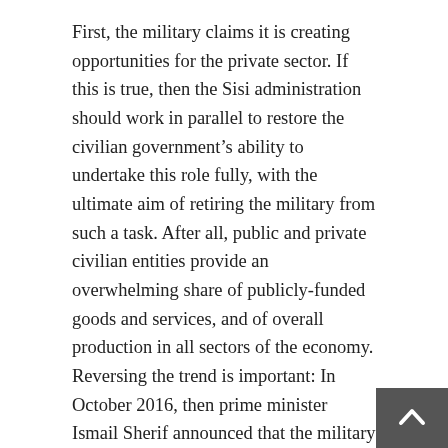First, the military claims it is creating opportunities for the private sector. If this is true, then the Sisi administration should work in parallel to restore the civilian government's ability to undertake this role fully, with the ultimate aim of retiring the military from such a task. After all, public and private civilian entities provide an overwhelming share of publicly-funded goods and services, and of overall production in all sectors of the economy. Reversing the trend is important: In October 2016, then prime minister Ismail Sherif announced that the military would diminish its economic role over the following few years. Instead, the opposite has happened, with the General Intelligence Directorate and the Ministry of Interior launching additional commercial ventures. Paradoxically, presidential and government initiatives to modernize land and real estate registration, support small and medium enterprises, and expand the housing mortgage market demonstrate that removing constraints on growth lessens the need for using the military to spearhead development or develop economic sectors for private investment.
Second, the actual economic utility of the military's public works, the cost-effectiveness of its manufacturing and business activities, and its contribution to state revenue are questionable. The first th…